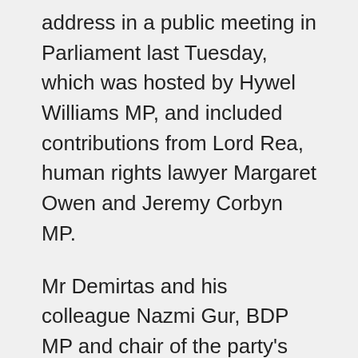address in a public meeting in Parliament last Tuesday, which was hosted by Hywel Williams MP, and included contributions from Lord Rea, human rights lawyer Margaret Owen and Jeremy Corbyn MP.
Mr Demirtas and his colleague Nazmi Gur, BDP MP and chair of the party's Foreign Affairs Commission, both spoke at the meeting, which was overflowing with people eager to hear from Turkey's most senior Kurdish political representatives.
The international community, including Britain, has played a direct and an indirect role in the massacre, firstly by supplying the intelligence to